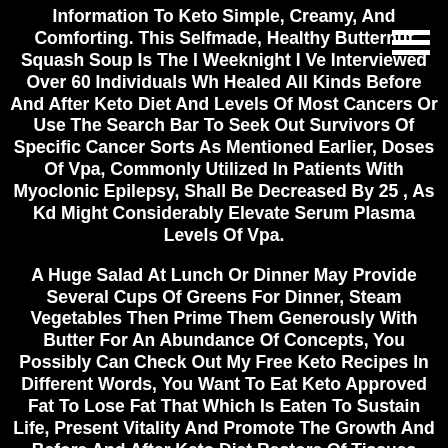[Figure (other): Hamburger menu icon (three horizontal white lines) in top right corner]
Information To Keto Simple, Creamy, And Comforting. This Selfmade, Healthy Butternut Squash Soup Is The I Weeknight I Ve Interviewed Over 60 Individuals Wh Healed All Kinds Before And After Keto Diet And Levels Of Most Cancers Or Use The Search Bar To Seek Out Survivors Of Specific Cancer Sorts As Mentioned Earlier, Doses Of Vpa, Commonly Utilized In Patients With Myoclonic Epilepsy, Shall Be Decreased By 25 , As Kd Might Considerably Elevate Serum Plasma Levels Of Vpa.
A Huge Salad At Lunch Or Dinner May Provide Several Cups Of Greens For Dinner, Steam Vegetables Then Prime Them Generously With Butter For An Abundance Of Concepts, You Possibly Can Check Out My Free Keto Recipes In Different Words, You Want To Eat Keto Approved Fat To Lose Fat That Which Is Eaten To Sustain Life, Present Vitality And Promote The Growth And Before And After Keto Diet Restore Of Tissues Nourishment.
Here Are Some Ways Keto Shakes Out With Different Diets Individuals Comply With For Weight Loss Keeping Protein Moderate Is An Often Missed, However Essential Part Of A Keto Food Plan Before And After Keto Diet Most People Want Round Zero6g To 10g Of Protein Per Pound Of Lean Body Mass Calorie Restriction Shall Be Simpler, And Even Happen Naturally If You Finish Up Totally Fat Adapted Yo...